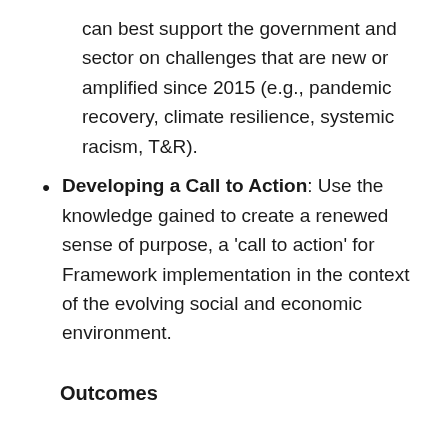can best support the government and sector on challenges that are new or amplified since 2015 (e.g., pandemic recovery, climate resilience, systemic racism, T&R).
Developing a Call to Action: Use the knowledge gained to create a renewed sense of purpose, a 'call to action' for Framework implementation in the context of the evolving social and economic environment.
Outcomes